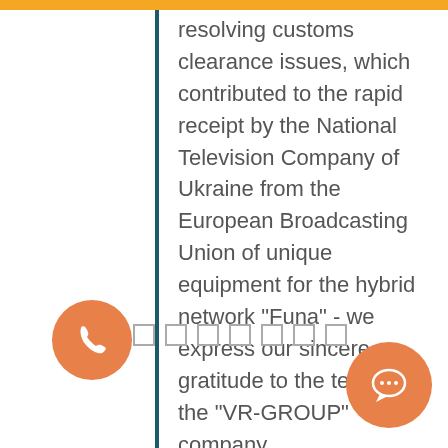resolving customs clearance issues, which contributed to the rapid receipt by the National Television Company of Ukraine from the European Broadcasting Union of unique equipment for the hybrid network "Funa" - we express our sincere gratitude to the team of the "VR-GROUP" company
[Figure (infographic): A row of 8 small squares used as slide/pagination indicators; the first square is filled dark teal/green, the rest are outlined gray squares.]
[Figure (infographic): Orange circle button with a white phone handset icon.]
[Figure (infographic): Orange circle button with a white chat/speech bubble icon and three dots inside.]